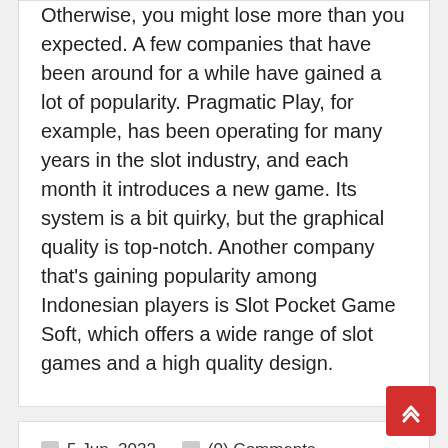Otherwise, you might lose more than you expected. A few companies that have been around for a while have gained a lot of popularity. Pragmatic Play, for example, has been operating for many years in the slot industry, and each month it introduces a new game. Its system is a bit quirky, but the graphical quality is top-notch. Another company that's gaining popularity among Indonesian players is Slot Pocket Game Soft, which offers a wide range of slot games and a high quality design.
5 Jun, 2022   (0) Comments
By adminhan   Info